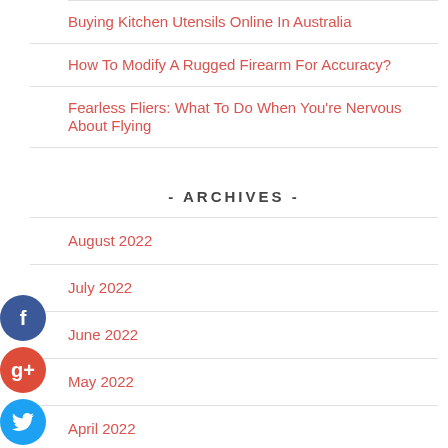Buying Kitchen Utensils Online In Australia
How To Modify A Rugged Firearm For Accuracy?
Fearless Fliers: What To Do When You're Nervous About Flying
- ARCHIVES -
August 2022
July 2022
June 2022
May 2022